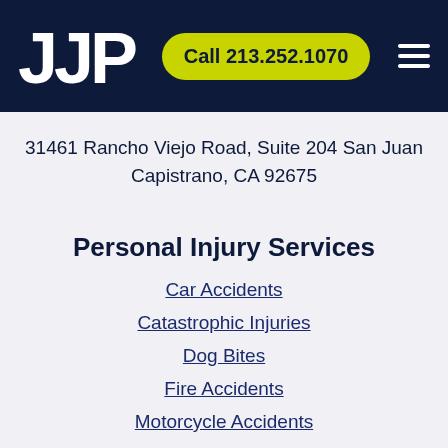JJP  Call 213.252.1070
31461 Rancho Viejo Road, Suite 204 San Juan Capistrano, CA 92675
Personal Injury Services
Car Accidents
Catastrophic Injuries
Dog Bites
Fire Accidents
Motorcycle Accidents
Premises Liability
Trip & Falls
Truck Accidents